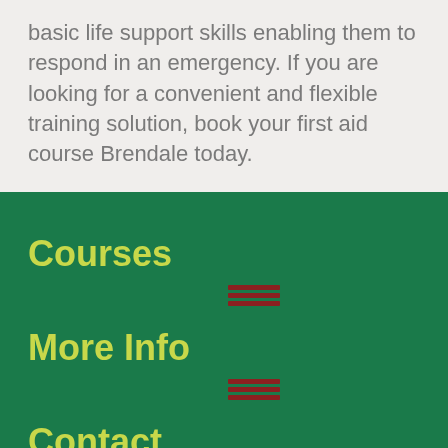basic life support skills enabling them to respond in an emergency. If you are looking for a convenient and flexible training solution, book your first aid course Brendale today.
Courses
[Figure (other): Small grid icon with dark red horizontal bars]
More Info
[Figure (other): Small grid icon with dark red horizontal bars]
Contact
07 3872 6777
loading Clientsfirstaid...